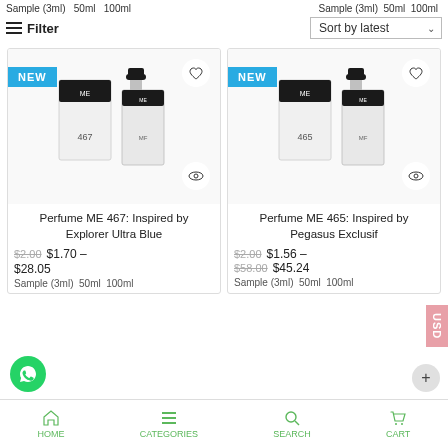Sample (3ml)  50ml  100ml  |  Sample (3ml)  50ml  100ml
Filter | Sort by latest
[Figure (photo): Perfume ME 467 product image with NEW badge, heart icon, and eye icon]
[Figure (photo): Perfume ME 465 product image with NEW badge, heart icon, and eye icon]
Perfume ME 467: Inspired by Explorer Ultra Blue
Perfume ME 465: Inspired by Pegasus Exclusif
$2.00  $1.70 – $28.05  Sample (3ml)  50ml  100ml
$2.00  $1.56 – $45.24  Sample (3ml)  50ml  100ml
HOME  CATEGORIES  SEARCH  CART